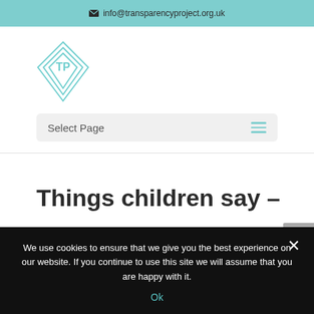✉ info@transparencyproject.org.uk
[Figure (logo): Transparency Project logo: nested diamond shapes in teal with 'TP' text in center]
Select Page
Things children say –
We use cookies to ensure that we give you the best experience on our website. If you continue to use this site we will assume that you are happy with it.
Ok